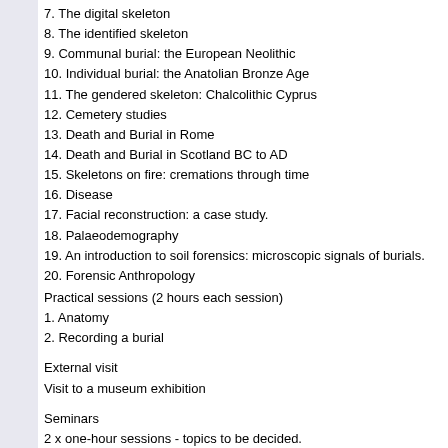7. The digital skeleton
8. The identified skeleton
9. Communal burial: the European Neolithic
10. Individual burial: the Anatolian Bronze Age
11. The gendered skeleton: Chalcolithic Cyprus
12. Cemetery studies
13. Death and Burial in Rome
14. Death and Burial in Scotland BC to AD
15. Skeletons on fire: cremations through time
16. Disease
17. Facial reconstruction: a case study.
18. Palaeodemography
19. An introduction to soil forensics: microscopic signals of burials.
20. Forensic Anthropology
Practical sessions (2 hours each session)
1. Anatomy
2. Recording a burial
External visit
Visit to a museum exhibition
Seminars
2 x one-hour sessions - topics to be decided.
This course aims to provide a broad introduction to the study of archaeological and forensic human skeletal remains. It will provide students with the opportunity to become familiar with various topics associated with this discipline, offering introductory instruction in skeletal anatomy and an insight into the methods used by osteologists in assessing demographic information such as sex, age-at-death disease. The curriculum will cover ethical issues and history of the discipline. A series of case studies that will utilise